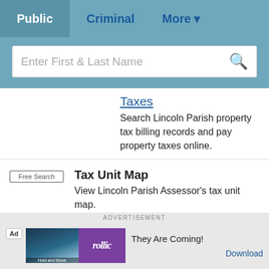Public | Criminal | More
[Figure (screenshot): Search bar with placeholder text 'Enter First & Last Name' and a magnifying glass icon]
Taxes - Search Lincoln Parish property tax billing records and pay property taxes online.
Free Search - Tax Unit Map - View Lincoln Parish Assessor's tax unit map.
Free Search - Meeting Agendas - View Lincoln Parish Police Jury meeting agendas by date from 2009 to present.
[Figure (screenshot): Advertisement banner: 'rollic - They Are Coming! Download']